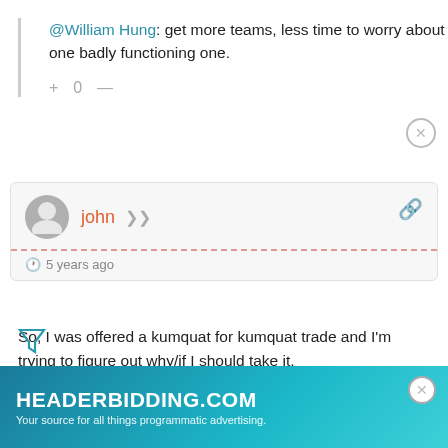@William Hung: get more teams, less time to worry about one badly functioning one.
+ 0 —
john
5 years ago
So, I was offered a kumquat for kumquat trade and I'm trying to figure out why/if I should take it.
12 team h2h keeper league w/obp instead of avg. My team is a bit heavy on power, high on Ks, middle of road obp/steals.
Was offered his Miguel Sano for my Maikel Franco.
Though h on
[Figure (other): Ad banner for HEADERBIDDING.COM with tagline 'Your source for all things programmatic advertising.']